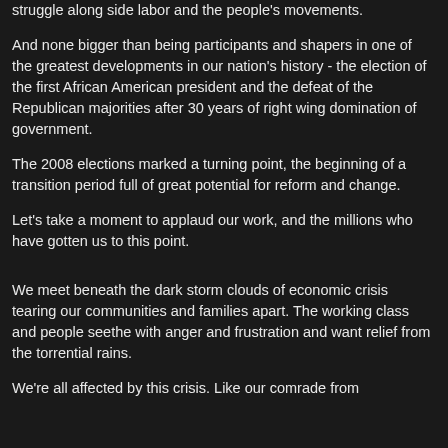struggle along side labor and the people's movements.
And none bigger than being participants and shapers in one of the greatest developments in our nation's history - the election of the first African American president and the defeat of the Republican majorities after 30 years of right wing domination of government.
The 2008 elections marked a turning point, the beginning of a transition period full of great potential for reform and change.
Let's take a moment to applaud our work, and the millions who have gotten us to this point.
We meet beneath the dark storm clouds of economic crisis tearing our communities and families apart. The working class and people seethe with anger and frustration and want relief from the torrential rains.
We're all affected by this crisis. Like our comrade from